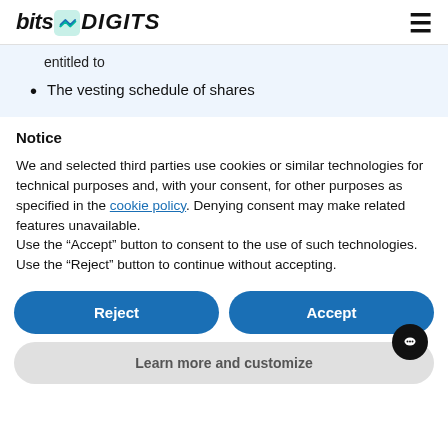bits2DIGITS [hamburger menu icon]
entitled to
The vesting schedule of shares
Notice
We and selected third parties use cookies or similar technologies for technical purposes and, with your consent, for other purposes as specified in the cookie policy. Denying consent may make related features unavailable.
Use the “Accept” button to consent to the use of such technologies. Use the “Reject” button to continue without accepting.
Reject
Accept
Learn more and customize